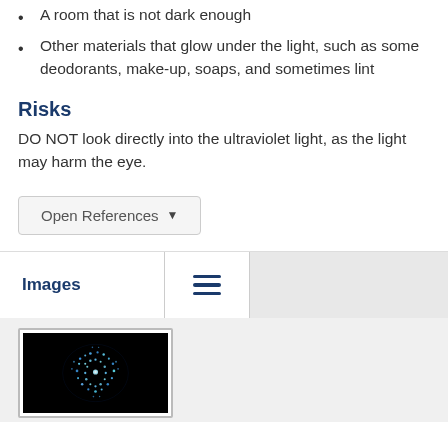A room that is not dark enough
Other materials that glow under the light, such as some deodorants, make-up, soaps, and sometimes lint
Risks
DO NOT look directly into the ultraviolet light, as the light may harm the eye.
Open References
Images
[Figure (photo): Glowing fingerprint under ultraviolet light on black background]